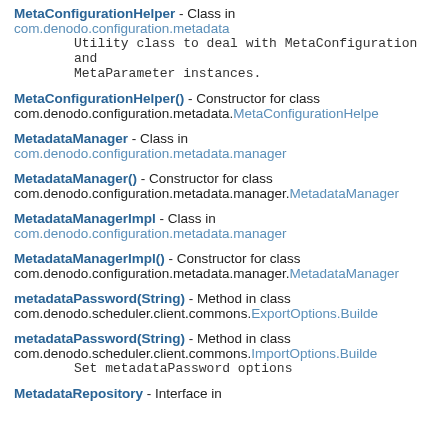MetaConfigurationHelper - Class in com.denodo.configuration.metadata
    Utility class to deal with MetaConfiguration and MetaParameter instances.
MetaConfigurationHelper() - Constructor for class com.denodo.configuration.metadata.MetaConfigurationHelper
MetadataManager - Class in com.denodo.configuration.metadata.manager
MetadataManager() - Constructor for class com.denodo.configuration.metadata.manager.MetadataManager
MetadataManagerImpl - Class in com.denodo.configuration.metadata.manager
MetadataManagerImpl() - Constructor for class com.denodo.configuration.metadata.manager.MetadataManagerImpl
metadataPassword(String) - Method in class com.denodo.scheduler.client.commons.ExportOptions.Builder
metadataPassword(String) - Method in class com.denodo.scheduler.client.commons.ImportOptions.Builder
    Set metadataPassword options
MetadataRepository - Interface in